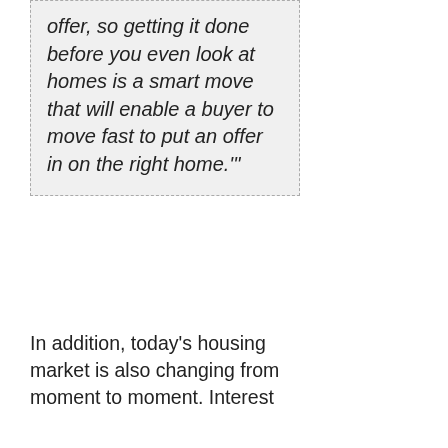offer, so getting it done before you even look at homes is a smart move that will enable a buyer to move fast to put an offer in on the right home.'
In addition, today's housing market is also changing from moment to moment. Interest